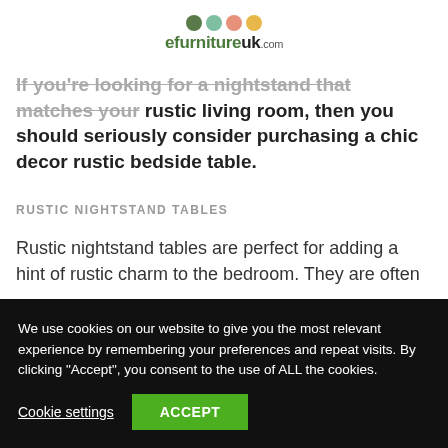eFurnitureUK.com
If you're looking for a nightstand that matches your rustic living room, then you should seriously consider purchasing a chic decor rustic bedside table.
Rustic nightstand tables
Rustic nightstand tables are perfect for adding a hint of rustic charm to the bedroom. They are often...
We use cookies on our website to give you the most relevant experience by remembering your preferences and repeat visits. By clicking "Accept", you consent to the use of ALL the cookies.
Cookie settings | ACCEPT